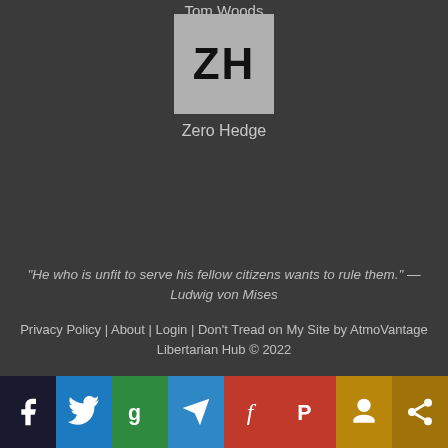Tom Woods
[Figure (logo): Zero Hedge logo: grey square with bold black letters ZH]
Zero Hedge
“He who is unfit to serve his fellow citizens wants to rule them.” — Ludwig von Mises
Privacy Policy | About | Login | Don’t Tread on My Site by AtmoVantage
Libertarian Hub © 2022
[Figure (infographic): Social sharing bar with icons: Facebook, Twitter, Gab, Telegram, Frank, Parler, SubscribeStar, Share]